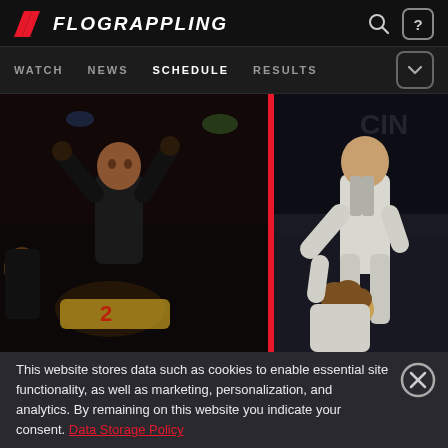FLOGRAPPLING
WATCH  NEWS  SCHEDULE  RESULTS
[Figure (photo): Split image: left side shows a grappler in black gi celebrating victory with championship belt under dark venue lighting; right side shows two grapplers in white gi competing on mat, one executing a hold on the other.]
This website stores data such as cookies to enable essential site functionality, as well as marketing, personalization, and analytics. By remaining on this website you indicate your consent. Data Storage Policy